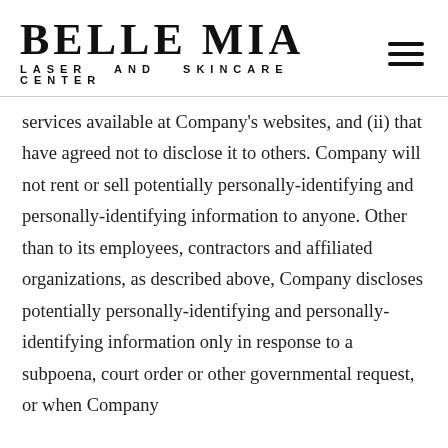BELLE MIA LASER AND SKINCARE CENTER
services available at Company's websites, and (ii) that have agreed not to disclose it to others. Company will not rent or sell potentially personally-identifying and personally-identifying information to anyone. Other than to its employees, contractors and affiliated organizations, as described above, Company discloses potentially personally-identifying and personally-identifying information only in response to a subpoena, court order or other governmental request, or when Company believes in good faith that disclosure is...